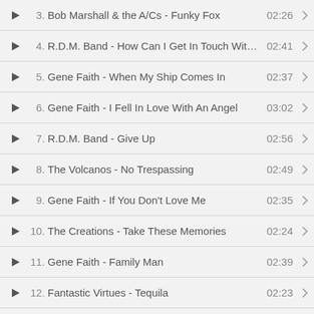3. Bob Marshall & the A/Cs - Funky Fox  02:26
4. R.D.M. Band - How Can I Get In Touch With You  02:41
5. Gene Faith - When My Ship Comes In  02:37
6. Gene Faith - I Fell In Love With An Angel  03:02
7. R.D.M. Band - Give Up  02:56
8. The Volcanos - No Trespassing  02:49
9. Gene Faith - If You Don't Love Me  02:35
10. The Creations - Take These Memories  02:24
11. Gene Faith - Family Man  02:39
12. Fantastic Virtues - Tequila  02:23
13. Richard Rome - Ghost A Go Go  02:13
14. Gene Faith - My Baby's Missing  02:49